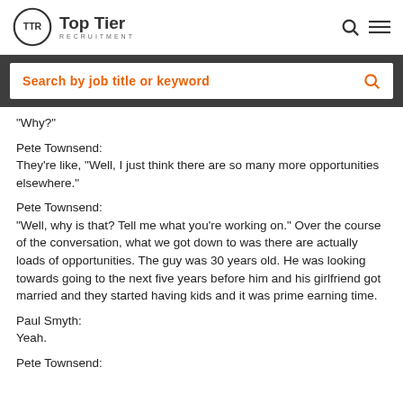[Figure (logo): Top Tier Recruitment logo with circular TTR emblem and company name]
Search by job title or keyword
"Why?"
Pete Townsend:
They're like, "Well, I just think there are so many more opportunities elsewhere."
Pete Townsend:
"Well, why is that? Tell me what you're working on." Over the course of the conversation, what we got down to was there are actually loads of opportunities. The guy was 30 years old. He was looking towards going to the next five years before him and his girlfriend got married and they started having kids and it was prime earning time.
Paul Smyth:
Yeah.
Pete Townsend: